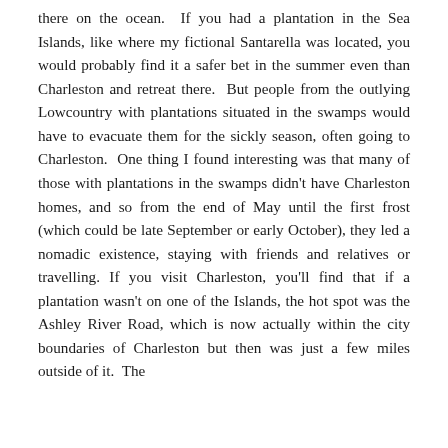there on the ocean. If you had a plantation in the Sea Islands, like where my fictional Santarella was located, you would probably find it a safer bet in the summer even than Charleston and retreat there. But people from the outlying Lowcountry with plantations situated in the swamps would have to evacuate them for the sickly season, often going to Charleston. One thing I found interesting was that many of those with plantations in the swamps didn't have Charleston homes, and so from the end of May until the first frost (which could be late September or early October), they led a nomadic existence, staying with friends and relatives or travelling. If you visit Charleston, you'll find that if a plantation wasn't on one of the Islands, the hot spot was the Ashley River Road, which is now actually within the city boundaries of Charleston but then was just a few miles outside of it. The